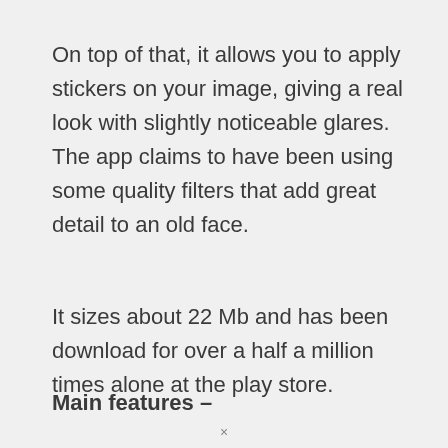On top of that, it allows you to apply stickers on your image, giving a real look with slightly noticeable glares. The app claims to have been using some quality filters that add great detail to an old face.
It sizes about 22 Mb and has been download for over a half a million times alone at the play store.
Main features –